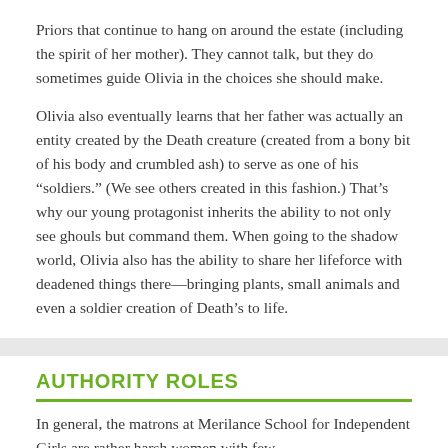Priors that continue to hang on around the estate (including the spirit of her mother). They cannot talk, but they do sometimes guide Olivia in the choices she should make.
Olivia also eventually learns that her father was actually an entity created by the Death creature (created from a bony bit of his body and crumbled ash) to serve as one of his “soldiers.” (We see others created in this fashion.) That’s why our young protagonist inherits the ability to not only see ghouls but command them. When going to the shadow world, Olivia also has the ability to share her lifeforce with deadened things there—bringing plants, small animals and even a soldier creation of Death’s to life.
AUTHORITY ROLES
In general, the matrons at Merilance School for Independent Girls are rather harsh women with few